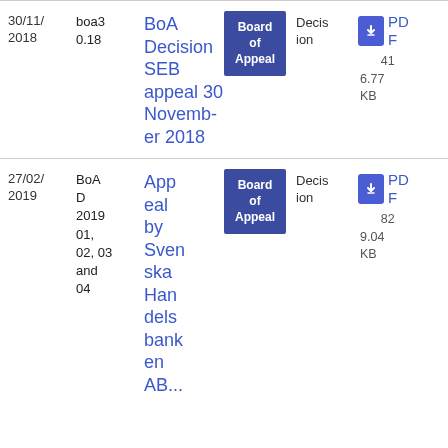| Date | Reference | Title | Category | Type | File |
| --- | --- | --- | --- | --- | --- |
| 30/11/2018 | boa3 0.18 | BoA Decision SEB appeal 30 November 2018 | Board of Appeal | Decision | PDF
416.77 KB |
| 27/02/2019 | BoA D 2019 01, 02, 03 and 04 | Appeal by Svenska Handelsbanken AB... | Board of Appeal | Decision | PDF
829.04 KB |